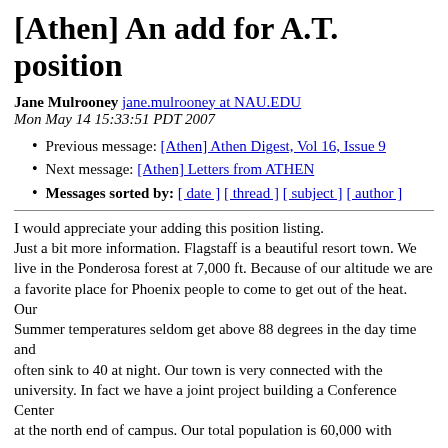[Athen] An add for A.T. position
Jane Mulrooney jane.mulrooney at NAU.EDU
Mon May 14 15:33:51 PDT 2007
Previous message: [Athen] Athen Digest, Vol 16, Issue 9
Next message: [Athen] Letters from ATHEN
Messages sorted by: [ date ] [ thread ] [ subject ] [ author ]
I would appreciate your adding this position listing.
Just a bit more information. Flagstaff is a beautiful resort town. We live in the Ponderosa forest at 7,000 ft. Because of our altitude we are
a favorite place for Phoenix people to come to get out of the heat. Our
Summer temperatures seldom get above 88 degrees in the day time and
often sink to 40 at night. Our town is very connected with the university. In fact we have a joint project building a Conference Center
at the north end of campus. Our total population is 60,000 with